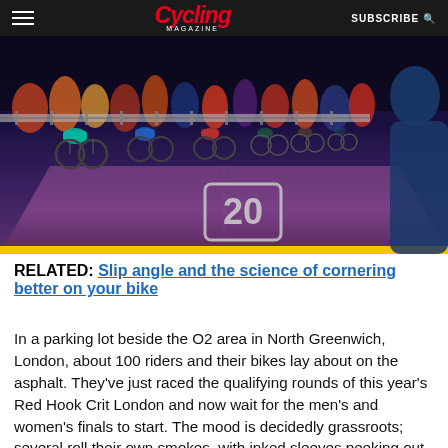Cycling Magazine — SUBSCRIBE
[Figure (photo): Cyclists racing at night at the Red Hook Crit London event, crowd behind barriers, road marked with number 20, yellow line on road, spectator visible on right side]
RELATED: Slip angle and the science of cornering better on your bike
In a parking lot beside the O2 area in North Greenwich, London, about 100 riders and their bikes lay about on the asphalt. They've just raced the qualifying rounds of this year's Red Hook Crit London and now wait for the men's and women's finals to start. The mood is decidedly grassroots; several roll their own smokes, with inked sleeves peeking out of their race jerseys. With no prizes, the paid